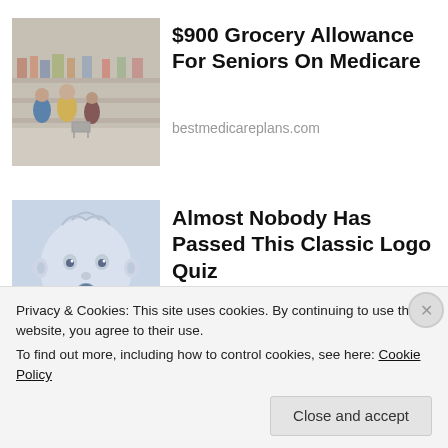[Figure (photo): Photo of people shopping in a grocery store aisle]
$900 Grocery Allowance For Seniors On Medicare
bestmedicareplans.com
[Figure (illustration): Illustration of a baby face with surprised expression on light blue background]
Almost Nobody Has Passed This Classic Logo Quiz
WarpedSpeed
Privacy & Cookies: This site uses cookies. By continuing to use this website, you agree to their use.
To find out more, including how to control cookies, see here: Cookie Policy